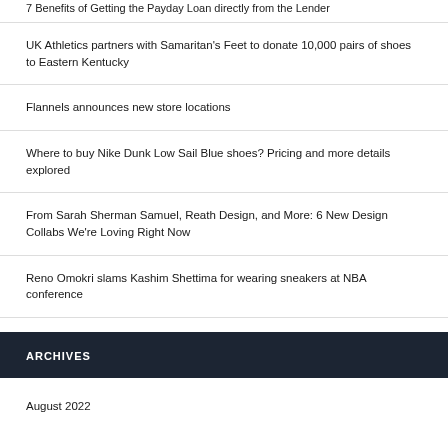7 Benefits of Getting the Payday Loan directly from the Lender
UK Athletics partners with Samaritan's Feet to donate 10,000 pairs of shoes to Eastern Kentucky
Flannels announces new store locations
Where to buy Nike Dunk Low Sail Blue shoes? Pricing and more details explored
From Sarah Sherman Samuel, Reath Design, and More: 6 New Design Collabs We're Loving Right Now
Reno Omokri slams Kashim Shettima for wearing sneakers at NBA conference
ARCHIVES
August 2022